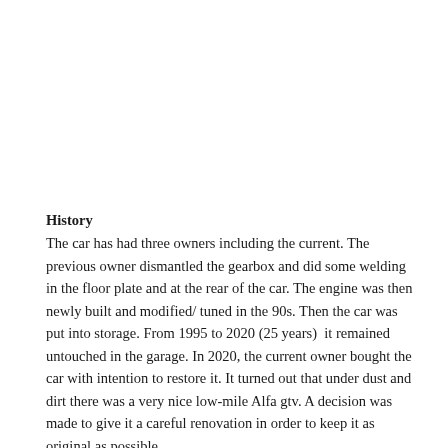History
The car has had three owners including the current. The previous owner dismantled the gearbox and did some welding in the floor plate and at the rear of the car. The engine was then newly built and modified/ tuned in the 90s. Then the car was put into storage. From 1995 to 2020 (25 years)  it remained untouched in the garage. In 2020, the current owner bought the car with intention to restore it. It turned out that under dust and dirt there was a very nice low-mile Alfa gtv. A decision was made to give it a careful renovation in order to keep it as original as possible.
Recent work